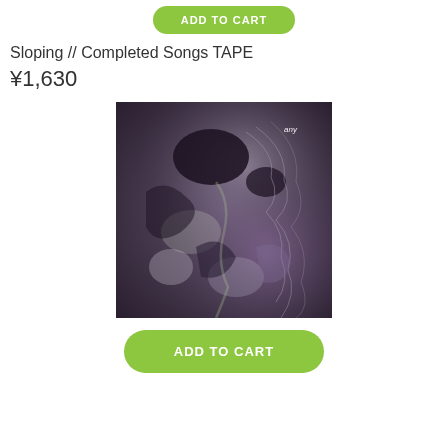ADD TO CART
Sloping // Completed Songs TAPE
¥1,630
[Figure (photo): Album artwork for Sloping // Completed Songs TAPE — abstract swirling image with dark purple, grey, and iridescent tones resembling fluid or shell texture, with small white text 'any' in top right corner]
ADD TO CART